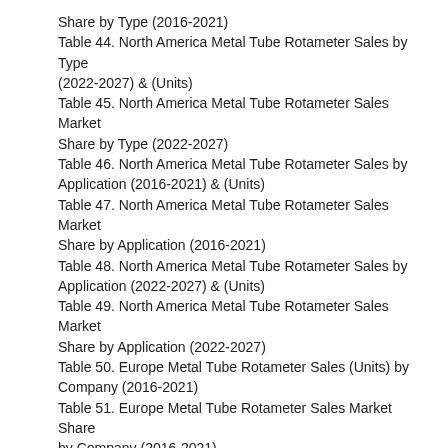Share by Type (2016-2021)
Table 44. North America Metal Tube Rotameter Sales by Type (2022-2027) & (Units)
Table 45. North America Metal Tube Rotameter Sales Market Share by Type (2022-2027)
Table 46. North America Metal Tube Rotameter Sales by Application (2016-2021) & (Units)
Table 47. North America Metal Tube Rotameter Sales Market Share by Application (2016-2021)
Table 48. North America Metal Tube Rotameter Sales by Application (2022-2027) & (Units)
Table 49. North America Metal Tube Rotameter Sales Market Share by Application (2022-2027)
Table 50. Europe Metal Tube Rotameter Sales (Units) by Company (2016-2021)
Table 51. Europe Metal Tube Rotameter Sales Market Share by Company (2016-2021)
Table 52. Europe Metal Tube Rotameter Revenue by Company (2016-2021) & (US$ Million)
Table 53. Europe Metal Tube Rotameter Revenue Market...